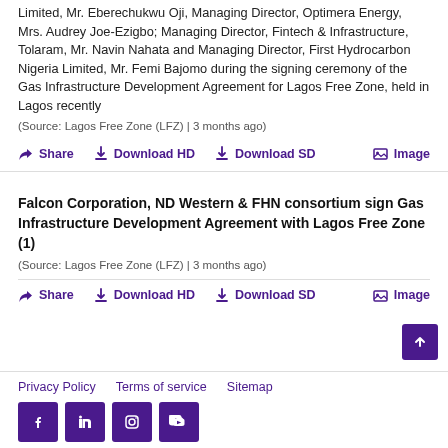Limited, Mr. Eberechukwu Oji, Managing Director, Optimera Energy, Mrs. Audrey Joe-Ezigbo; Managing Director, Fintech & Infrastructure, Tolaram, Mr. Navin Nahata and Managing Director, First Hydrocarbon Nigeria Limited, Mr. Femi Bajomo during the signing ceremony of the Gas Infrastructure Development Agreement for Lagos Free Zone, held in Lagos recently
(Source: Lagos Free Zone (LFZ) | 3 months ago)
Falcon Corporation, ND Western & FHN consortium sign Gas Infrastructure Development Agreement with Lagos Free Zone (1)
(Source: Lagos Free Zone (LFZ) | 3 months ago)
Privacy Policy   Terms of service   Sitemap